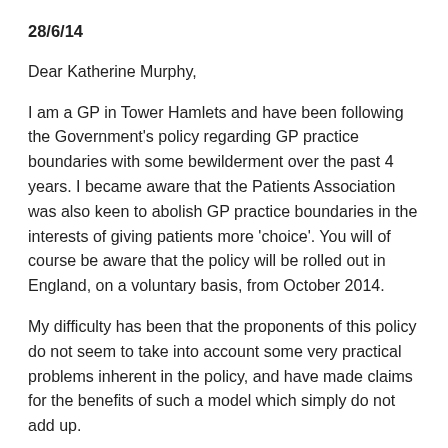28/6/14
Dear Katherine Murphy,
I am a GP in Tower Hamlets and have been following the Government's policy regarding GP practice boundaries with some bewilderment over the past 4 years. I became aware that the Patients Association was also keen to abolish GP practice boundaries in the interests of giving patients more 'choice'. You will of course be aware that the policy will be rolled out in England, on a voluntary basis, from October 2014.
My difficulty has been that the proponents of this policy do not seem to take into account some very practical problems inherent in the policy, and have made claims for the benefits of such a model which simply do not add up.